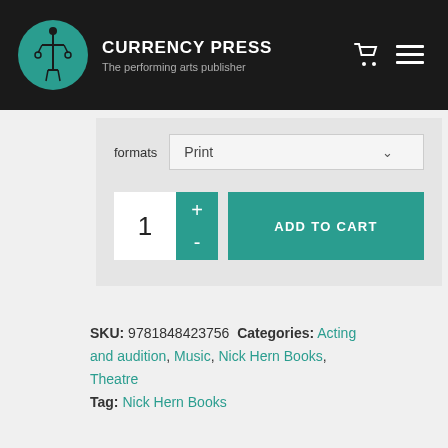CURRENCY PRESS — The performing arts publisher
formats  Print
1  +  -  ADD TO CART
SKU: 9781848423756 Categories: Acting and audition, Music, Nick Hern Books, Theatre Tag: Nick Hern Books